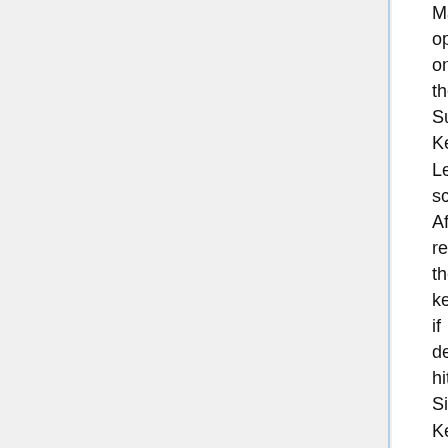Macro option on the Success-Key Learned screen. After relabeling the key if desired, hit Side Key K8 to select this option. You can set a delay of 1-10 secs after which the next command stored in the Macro will be sent.
Point your existing remote at the bottom of the IR10A remote and press OK when you`re ready. Then press your next key.
After adding all your keys you can keep the label for the key or select Change Label by pressing Side Key K9.
Generally, you do not want to create macros directly under the POWER key; use a Side Key if you want a button that turns all your devices on or off. Creating a macro under POWER will usually prevent the QuickPower feature of your remote from working correctly.